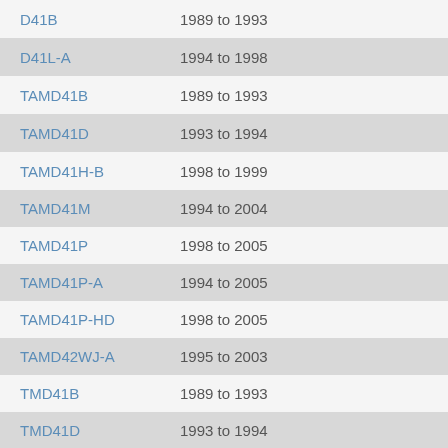D41B  1989 to 1993
D41L-A  1994 to 1998
TAMD41B  1989 to 1993
TAMD41D  1993 to 1994
TAMD41H-B  1998 to 1999
TAMD41M  1994 to 2004
TAMD41P  1998 to 2005
TAMD41P-A  1994 to 2005
TAMD41P-HD  1998 to 2005
TAMD42WJ-A  1995 to 2003
TMD41B  1989 to 1993
TMD41D  1993 to 1994